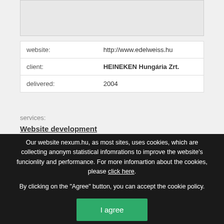[Figure (screenshot): Screenshot of edelweiss.hu website showing mobile app and product imagery]
| website: | http://www.edelweiss.hu |
| client: | HEINEKEN Hungária Zrt. |
| delivered: | 2004 |
services:
Website development
Brand site, promotion site
Online games
Our website nexum.hu, as most sites, uses cookies, which are collecting anonym statistical infomrations to improve the website's funcionlity and performance. For more infomartion about the cookies, please click here. By clicking on the "Agree" button, you can accept the cookie policy.
I agree